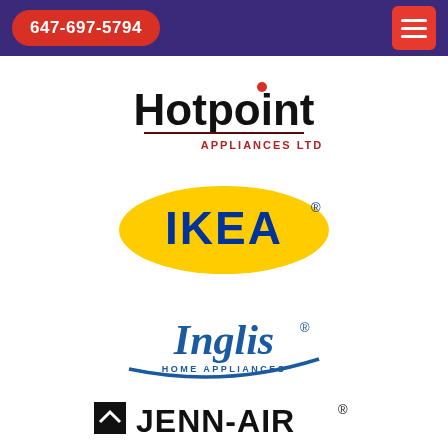647-697-5794
[Figure (logo): Hotpoint Appliances Ltd logo - black bold text 'Hotpoint' with red dot on letter i, underline, and 'APPLIANCES LTD' below in red/maroon]
[Figure (logo): IKEA logo - yellow oval with blue bold text 'IKEA' and registered trademark symbol]
[Figure (logo): Inglis Home Appliances logo - blue italic script text 'Inglis' with 'HOME APPLIANCES' beneath and blue swoosh arc]
[Figure (logo): Jenn-Air logo - black text 'JENN-AIR' with registered trademark, square black icon to the left]